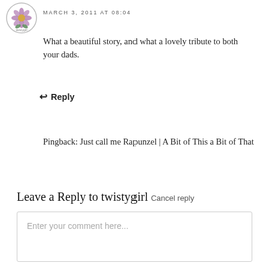[Figure (illustration): Circular avatar image with a purple flower illustration and decorative border]
MARCH 3, 2011 AT 08:04
What a beautiful story, and what a lovely tribute to both your dads.
↩ Reply
Pingback: Just call me Rapunzel | A Bit of This a Bit of That
Leave a Reply to twistygirl Cancel reply
Enter your comment here...